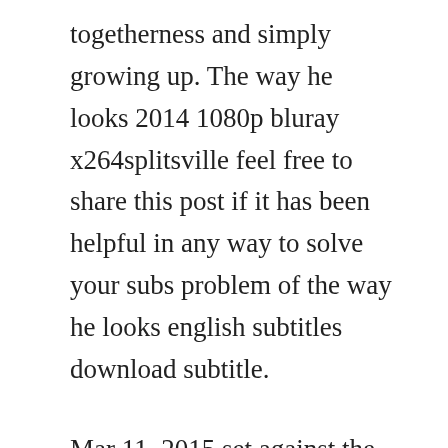togetherness and simply growing up. The way he looks 2014 1080p bluray x264splitsville feel free to share this post if it has been helpful in any way to solve your subs problem of the way he looks english subtitles download subtitle.
Mar 11, 2015 set against the music of belle and sebastian, daniel ribeiros coming of age tale, the way he looks is a fun and tender story about friendship and the complications of young love. Copyright all rights reserved 2014 strand releasing website by seven blocks